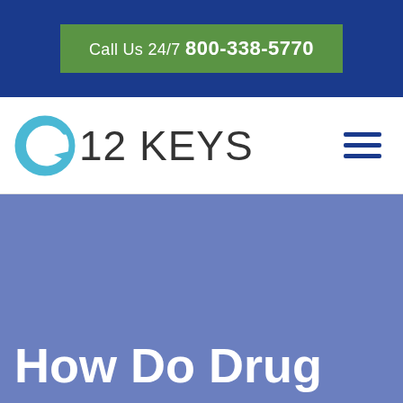Call Us 24/7 800-338-5770
[Figure (logo): 12 Keys rehab center logo with circular arrow icon]
How Do Drug